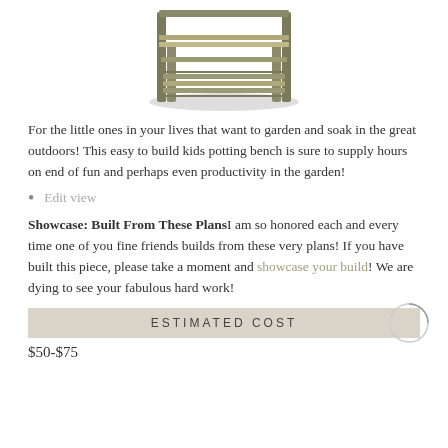[Figure (illustration): A wooden kids potting bench seen from a 3D perspective, rendered in a greenish-brown color, with legs, a work surface, and a lower shelf slatted in wood.]
For the little ones in your lives that want to garden and soak in the great outdoors! This easy to build kids potting bench is sure to supply hours on end of fun and perhaps even productivity in the garden!
Edit view
Showcase: Built From These Plans I am so honored each and every time one of you fine friends builds from these very plans! If you have built this piece, please take a moment and showcase your build! We are dying to see your fabulous hard work!
ESTIMATED COST
$50-$75